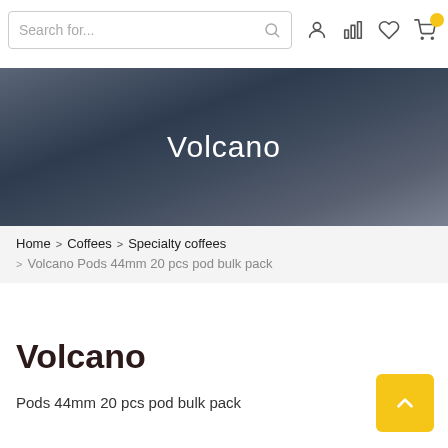Search for...
[Figure (screenshot): Hero banner with dark blue-grey textured background and 'Volcano' text in white center]
Home > Coffees > Specialty coffees > Volcano Pods 44mm 20 pcs pod bulk pack
Volcano
Pods 44mm 20 pcs pod bulk pack